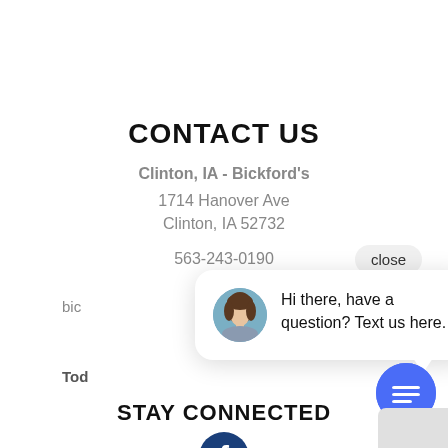CONTACT US
Clinton, IA - Bickford's
1714 Hanover Ave
Clinton, IA 52732
563-243-0190
bic
Tod
[Figure (screenshot): Chat popup overlay with woman avatar and message: Hi there, have a question? Text us here. Close button top right. Blue chat FAB button bottom right.]
STAY CONNECTED
[Figure (logo): Facebook circular logo icon in dark blue]